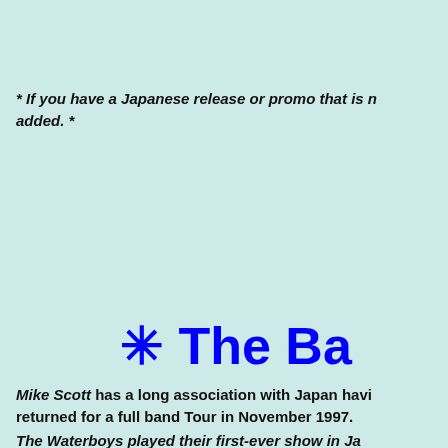* If you have a Japanese release or promo that is not listed, please contact me so it can be added. *
✳ The Ba
Mike Scott has a long association with Japan having first visited in the 1980s and returned for a full band Tour in November 1997.
The Waterboys played their first-ever show in Ja